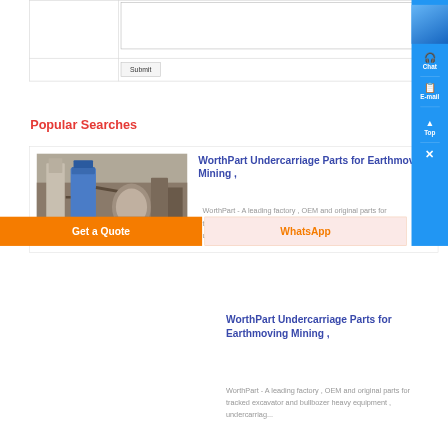[Figure (screenshot): Form area with a textarea message box and a Submit button, part of a web contact form]
Popular Searches
[Figure (photo): Industrial mining machinery / dust collector equipment photo]
WorthPart Undercarriage Parts for Earthmoving Mining ,
WorthPart - A leading factory , OEM and original parts for tracked excavator and bullbozer heavy equipment , undercarriag...
[Figure (screenshot): Right sidebar with Chat, E-mail, Top, and close (X) buttons on blue background]
Get a Quote
WhatsApp